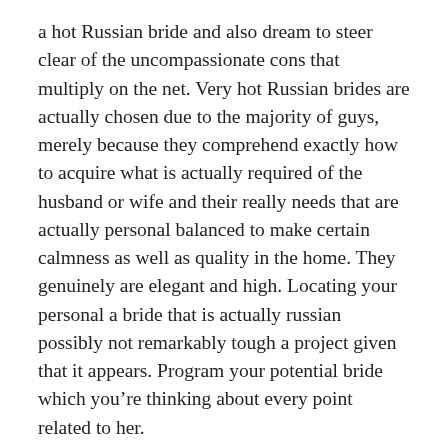a hot Russian bride and also dream to steer clear of the uncompassionate cons that multiply on the net. Very hot Russian brides are actually chosen due to the majority of guys, merely because they comprehend exactly how to acquire what is actually required of the husband or wife and their really needs that are actually personal balanced to make certain calmness as well as quality in the home. They genuinely are elegant and high. Locating your personal a bride that is actually russian possibly not remarkably tough a project given that it appears. Program your potential bride which you’re thinking about every point related to her.
If you prefer a handful of gals, you have the ability to comprise to all or any all of them. As a result, just start engaging and also appear whether you certainly experience confident adequate using this certain gal that is specific. The part that is coolest conference gals on the web is actually the fact that you’ll match with a lot of unique